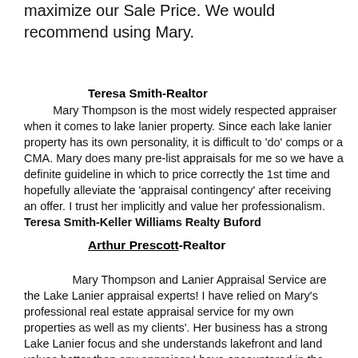knowledge of this lake. Her appraisal helped us to maximize our Sale Price. We would recommend using Mary.
Teresa Smith-Realtor
Mary Thompson is the most widely respected appraiser when it comes to lake lanier property. Since each lake lanier property has its own personality, it is difficult to 'do' comps or a CMA. Mary does many pre-list appraisals for me so we have a definite guideline in which to price correctly the 1st time and hopefully alleviate the 'appraisal contingency' after receiving an offer. I trust her implicitly and value her professionalism. Teresa Smith-Keller Williams Realty Buford
Arthur Prescott-Realtor
Mary Thompson and Lanier Appraisal Service are the Lake Lanier appraisal experts! I have relied on Mary's professional real estate appraisal service for my own properties as well as my clients'. Her business has a strong Lake Lanier focus and she understands lakefront and land values better than any appraiser I have encountered in the area. She is trusted by many professional real estate agents for providing excellent service, reasonable rates and extraordinary knowledge of